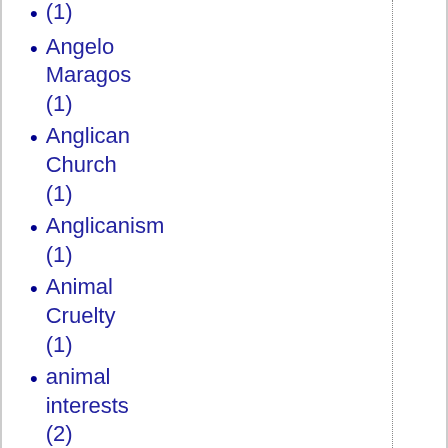(1)
Angelo Maragos (1)
Anglican Church (1)
Anglicanism (1)
Animal Cruelty (1)
animal interests (2)
animal rights (3)
Anniversary (1)
Anniversary; conservatism (1)
anti-Americanism